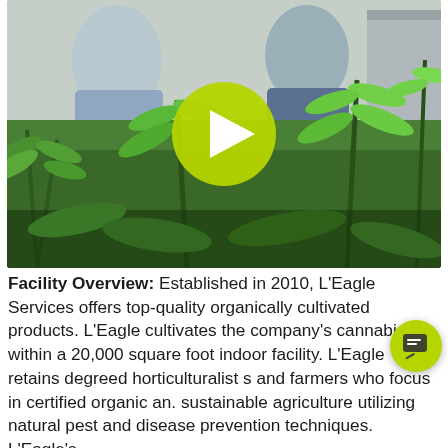[Figure (photo): Photo of two men talking in an indoor cannabis cultivation facility with green cannabis plants in foreground, with a yellow-green play button overlay in the center]
Facility Overview: Established in 2010, L'Eagle Services offers top-quality organically cultivated products. L'Eagle cultivates the company's cannabis within a 20,000 square foot indoor facility. L'Eagle retains degreed horticulturalists and farmers who focus in certified organic and sustainable agriculture utilizing natural pest and disease prevention techniques. L'Eagle's